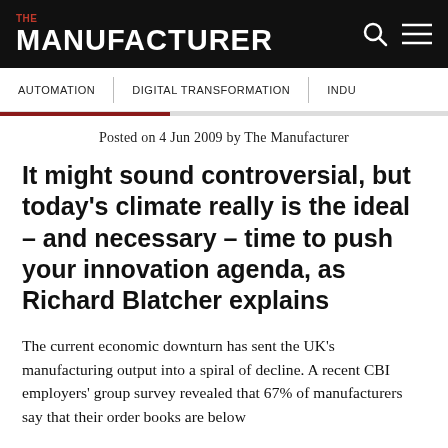THE MANUFACTURER
AUTOMATION | DIGITAL TRANSFORMATION | INDU...
Posted on 4 Jun 2009 by The Manufacturer
It might sound controversial, but today's climate really is the ideal – and necessary – time to push your innovation agenda, as Richard Blatcher explains
The current economic downturn has sent the UK's manufacturing output into a spiral of decline. A recent CBI employers' group survey revealed that 67% of manufacturers say that their order books are below